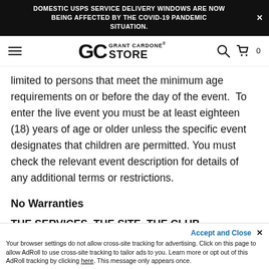DOMESTIC USPS SERVICE DELIVERY WINDOWS ARE NOW BEING AFFECTED BY THE COVID-19 PANDEMIC SITUATION.
[Figure (logo): Grant Cardone Store logo with GC monogram and hamburger menu, search and cart icons]
limited to persons that meet the minimum age requirements on or before the day of the event.  To enter the live event you must be at least eighteen (18) years of age or older unless the specific event designates that children are permitted. You must check the relevant event description for details of any additional terms or restrictions.
No Warranties
THE SERVICES, THE SITE, THE CLUB MATERIALS, USER CONTENT, AND ANY OTHER INFORMATION AND MATERIALS MADE AVAILABLE IN CONJUNCTION WITH OR
Your browser settings do not allow cross-site tracking for advertising. Click on this page to allow AdRoll to use cross-site tracking to tailor ads to you. Learn more or opt out of this AdRoll tracking by clicking here. This message only appears once.